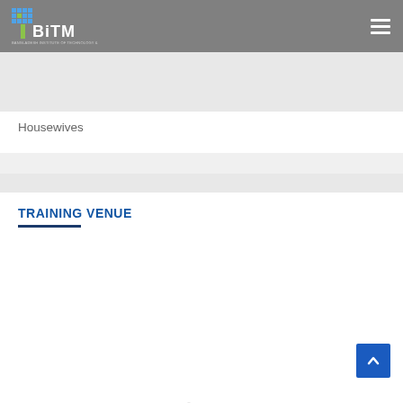BITM | BASIS - Bangladesh Association of Software & Information Services
Housewives
TRAINING VENUE
[Figure (logo): BASIS - Bangladesh Association of Software & Information Services logo with colorful arrow graphic]
[Figure (other): Scroll to top button with upward arrow, blue background]